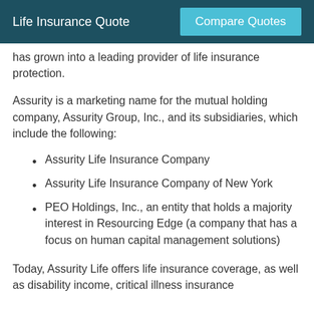Life Insurance Quote | Compare Quotes
has grown into a leading provider of life insurance protection.
Assurity is a marketing name for the mutual holding company, Assurity Group, Inc., and its subsidiaries, which include the following:
Assurity Life Insurance Company
Assurity Life Insurance Company of New York
PEO Holdings, Inc., an entity that holds a majority interest in Resourcing Edge (a company that has a focus on human capital management solutions)
Today, Assurity Life offers life insurance coverage, as well as disability income, critical illness insurance